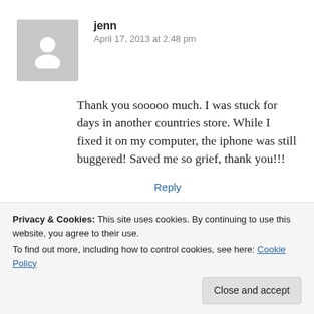[Figure (illustration): Grey avatar placeholder icon with white silhouette of a person]
jenn
April 17, 2013 at 2:48 pm
Thank you sooooo much. I was stuck for days in another countries store. While I fixed it on my computer, the iphone was still buggered! Saved me so grief, thank you!!!
Reply
[Figure (illustration): Partial grey avatar placeholder for second commenter]
aicha
problem on Google !!
Privacy & Cookies: This site uses cookies. By continuing to use this website, you agree to their use.
To find out more, including how to control cookies, see here: Cookie Policy
Close and accept